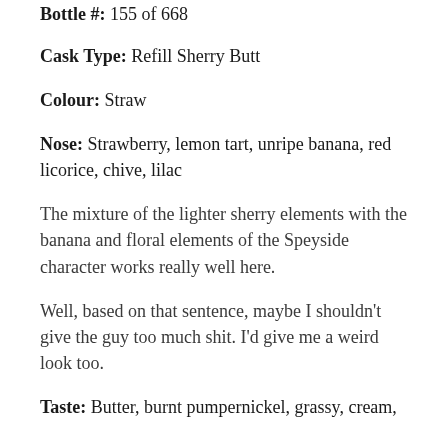Bottle #: 155 of 668
Cask Type: Refill Sherry Butt
Colour: Straw
Nose: Strawberry, lemon tart, unripe banana, red licorice, chive, lilac
The mixture of the lighter sherry elements with the banana and floral elements of the Speyside character works really well here.
Well, based on that sentence, maybe I shouldn't give the guy too much shit. I'd give me a weird look too.
Taste: Butter, burnt pumpernickel, grassy, cream,